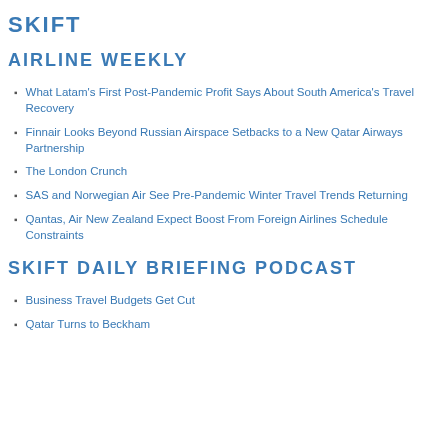SKIFT
AIRLINE WEEKLY
What Latam's First Post-Pandemic Profit Says About South America's Travel Recovery
Finnair Looks Beyond Russian Airspace Setbacks to a New Qatar Airways Partnership
The London Crunch
SAS and Norwegian Air See Pre-Pandemic Winter Travel Trends Returning
Qantas, Air New Zealand Expect Boost From Foreign Airlines Schedule Constraints
SKIFT DAILY BRIEFING PODCAST
Business Travel Budgets Get Cut
Qatar Turns to Beckham